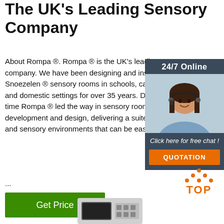The UK's Leading Sensory Company
About Rompa ®. Rompa ® is the UK's leading sensory company. We have been designing and installing Snoezelen ® sensory rooms in schools, care homes and domestic settings for over 35 years. During that time Rompa ® has led the way in sensory room product development and design, delivering a suite of products and sensory environments that can be easily ...
[Figure (infographic): 24/7 Online chat widget with a woman wearing a headset. Dark blue background with text 'Click here for free chat!' and an orange QUOTATION button.]
[Figure (other): Orange dotted triangle logo above the word TOP in orange bold text — a back-to-top button.]
[Figure (photo): Partial image of a product device at the bottom of the page.]